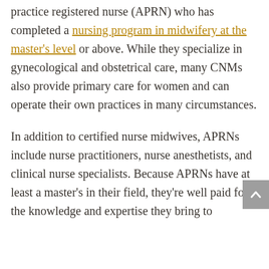practice registered nurse (APRN) who has completed a nursing program in midwifery at the master's level or above. While they specialize in gynecological and obstetrical care, many CNMs also provide primary care for women and can operate their own practices in many circumstances.
In addition to certified nurse midwives, APRNs include nurse practitioners, nurse anesthetists, and clinical nurse specialists. Because APRNs have at least a master's in their field, they're well paid for the knowledge and expertise they bring to